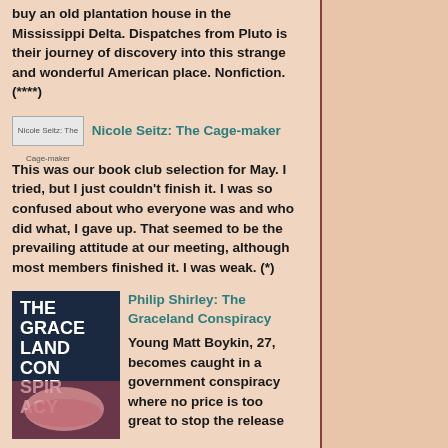buy an old plantation house in the Mississippi Delta. Dispatches from Pluto is their journey of discovery into this strange and wonderful American place. Nonfiction. (****)
[Figure (illustration): Small image placeholder for Nicole Seitz: The Cage-maker book cover]
Nicole Seitz: The Cage-maker
This was our book club selection for May. I tried, but I just couldn't finish it. I was so confused about who everyone was and who did what, I gave up. That seemed to be the prevailing attitude at our meeting, although most members finished it. I was weak. (*)
[Figure (photo): Book cover of The Graceland Conspiracy by Philip Shirley, showing a pink 1950s car, dark blue background with large white title text]
Philip Shirley: The Graceland Conspiracy
Young Matt Boykin, 27, becomes caught in a government conspiracy where no price is too great to stop the release